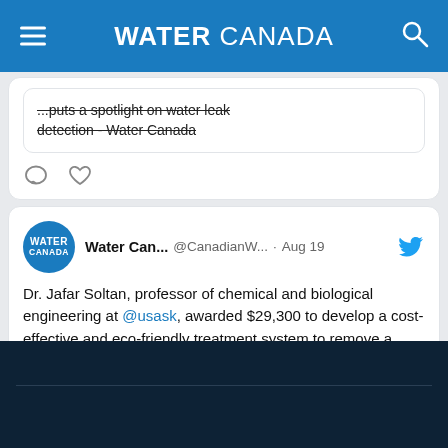WATER CANADA
...puts a spotlight on water leak detection - Water Canada
Water Can... @CanadianW... · Aug 19 — Dr. Jafar Soltan, professor of chemical and biological engineering at @usask, awarded $29,300 to develop a cost-effective and eco-friendly treatment system to remove a 6PPD-quinone from Saskatoon's stormwaters.